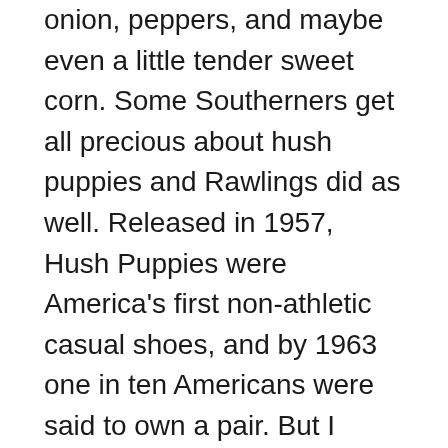onion, peppers, and maybe even a little tender sweet corn. Some Southerners get all precious about hush puppies and Rawlings did as well. Released in 1957, Hush Puppies were America's first non-athletic casual shoes, and by 1963 one in ten Americans were said to own a pair. But I would much rather eat a hushpuppy than wear one. These days, no-nonsense hushpuppies can be found as far as Mel's Fish Shack in Los Angeles and Snappy's Shrimp in Chicago. Hush puppy, a deep-fried or baked ball of cornmeal batter and spices, usually served as a side dish. Hush puppies are believed to have originated in the southern United States, where they are a traditional dish.They are typically made with cornmeal, flour, egg, buttermilk, baking soda, and onion, though various spices and other ingredients—including...